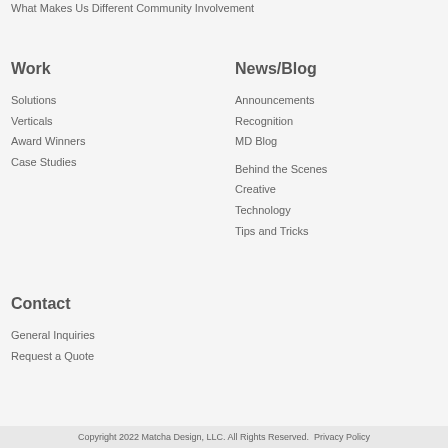What Makes Us Different
Community Involvement
Work
Solutions
Verticals
Award Winners
Case Studies
News/Blog
Announcements
Recognition
MD Blog
Behind the Scenes
Creative
Technology
Tips and Tricks
Contact
General Inquiries
Request a Quote
Copyright 2022 Matcha Design, LLC. All Rights Reserved.  Privacy Policy